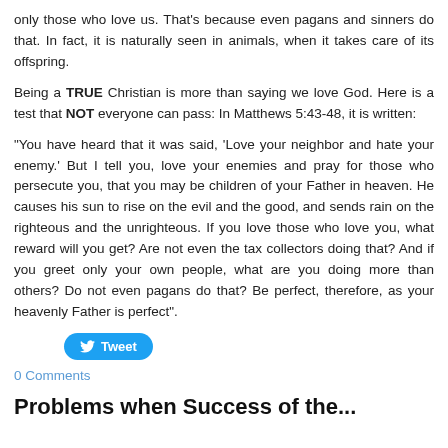only those who love us. That's because even pagans and sinners do that. In fact, it is naturally seen in animals, when it takes care of its offspring.
Being a TRUE Christian is more than saying we love God. Here is a test that NOT everyone can pass: In Matthews 5:43-48, it is written:
"You have heard that it was said, ‘Love your neighbor and hate your enemy.’ But I tell you, love your enemies and pray for those who persecute you, that you may be children of your Father in heaven. He causes his sun to rise on the evil and the good, and sends rain on the righteous and the unrighteous. If you love those who love you, what reward will you get? Are not even the tax collectors doing that? And if you greet only your own people, what are you doing more than others? Do not even pagans do that? Be perfect, therefore, as your heavenly Father is perfect".
[Figure (other): Tweet button]
0 Comments
Problems when Success of the...